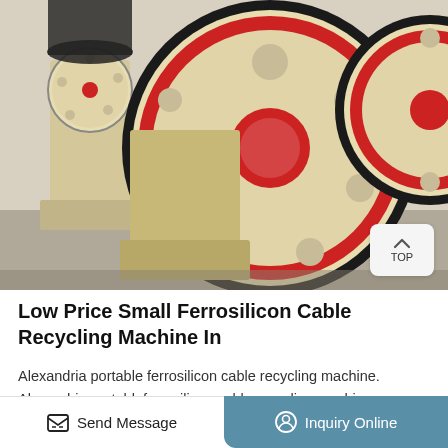[Figure (photo): Industrial jaw crusher machine with large cream/beige colored flywheels with red accents and black belts, photographed in a factory/warehouse setting]
Low Price Small Ferrosilicon Cable Recycling Machine In
Alexandria portable ferrosilicon cable recycling machine. Alexandria portableferrosilicon cable recycling machine; Alexandria portableferrosilicon cable recycling machine  capacity : 30-800 t/h